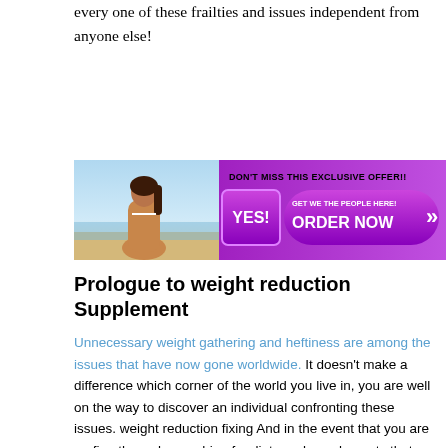every one of these frailties and issues independent from anyone else!
[Figure (illustration): Promotional banner showing a woman on a beach on the left, and a purple 'YES! ORDER NOW' button with text 'Don't Miss this Exclusive Offer!! Get We The People Here!' on the right.]
Prologue to weight reduction Supplement
Unnecessary weight gathering and heftiness are among the issues that have now gone worldwide. It doesn't make a difference which corner of the world you live in, you are well on the way to discover an individual confronting these issues. weight reduction fixing And in the event that you are surfing the web searching for diets and supplements that assist it is Keto...